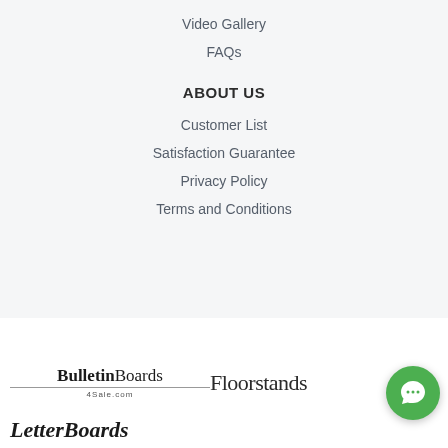Video Gallery
FAQs
ABOUT US
Customer List
Satisfaction Guarantee
Privacy Policy
Terms and Conditions
[Figure (logo): BulletinBoards4Sale.com logo]
[Figure (logo): Floorstands logo (partially visible)]
[Figure (logo): LetterBoards logo (partially visible at bottom)]
[Figure (other): Green chat bubble icon in bottom right corner]